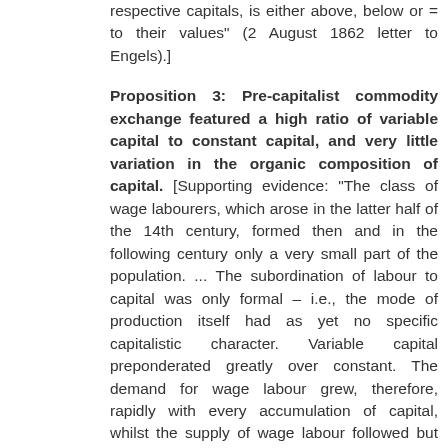respective capitals, is either above, below or = to their values" (2 August 1862 letter to Engels).]
Proposition 3: Pre-capitalist commodity exchange featured a high ratio of variable capital to constant capital, and very little variation in the organic composition of capital. [Supporting evidence: "The class of wage labourers, which arose in the latter half of the 14th century, formed then and in the following century only a very small part of the population. ... The subordination of labour to capital was only formal – i.e., the mode of production itself had as yet no specific capitalistic character. Variable capital preponderated greatly over constant. The demand for wage labour grew, therefore, rapidly with every accumulation of capital, whilst the supply of wage labour followed but slowly." (vol 1, chapter 28)]
From these three premises, we can deduce exactly what I've claimed. Because early commodity exchange had no specific capitalistic